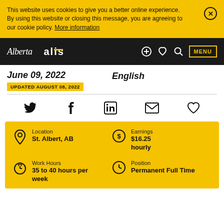This website uses cookies to give you a better online experience. By using this website or closing this message, you are agreeing to our cookie policy. More information
Alberta alis — MENU
June 09, 2022
UPDATED AUGUST 08, 2022
English
[Figure (infographic): Social sharing icons: Twitter, Facebook, LinkedIn, Email, Heart/Favourite]
Location
St. Albert, AB
Earnings
$16.25
hourly
Work Hours
35 to 40 hours per week
Position
Permanent Full Time